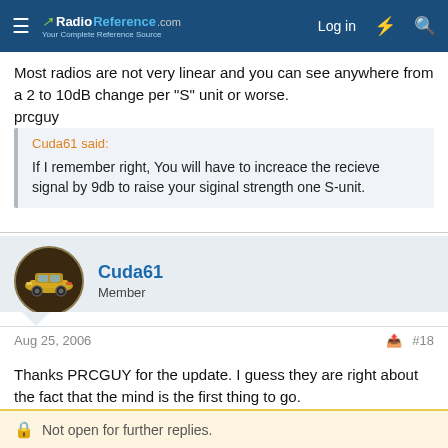RadioReference.com — Log in
Most radios are not very linear and you can see anywhere from a 2 to 10dB change per "S" unit or worse.
prcguy
Cuda61 said:
If I remember right, You will have to increace the recieve signal by 9db to raise your siginal strength one S-unit.
[Figure (photo): Avatar photo of user Cuda61 showing a yellow classic car]
Cuda61
Member
Aug 25, 2006  #18
Thanks PRCGUY for the update. I guess they are right about the fact that the mind is the first thing to go.
Not open for further replies.